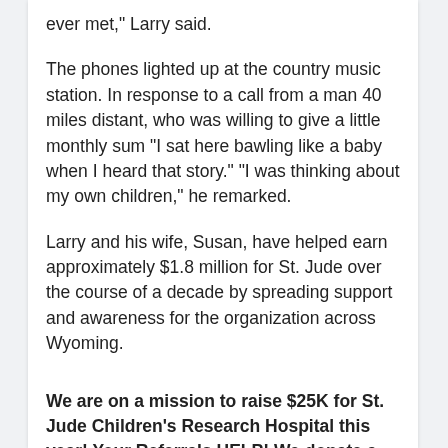ever met," Larry said.
The phones lighted up at the country music station. In response to a call from a man 40 miles distant, who was willing to give a little monthly sum "I sat here bawling like a baby when I heard that story." "I was thinking about my own children," he remarked.
Larry and his wife, Susan, have helped earn approximately $1.8 million for St. Jude over the course of a decade by spreading support and awareness for the organization across Wyoming.
We are on a mission to raise $25K for St. Jude Children's Research Hospital this year!  Your Referrals HELP! We donate a portion of our income from our real estate sales to St. Jude